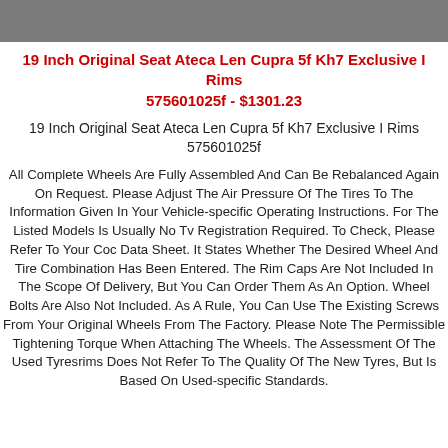[Figure (photo): Gray photo bar at top of page]
19 Inch Original Seat Ateca Len Cupra 5f Kh7 Exclusive I Rims 575601025f - $1301.23
19 Inch Original Seat Ateca Len Cupra 5f Kh7 Exclusive I Rims 575601025f
All Complete Wheels Are Fully Assembled And Can Be Rebalanced Again On Request. Please Adjust The Air Pressure Of The Tires To The Information Given In Your Vehicle-specific Operating Instructions. For The Listed Models Is Usually No Tv Registration Required. To Check, Please Refer To Your Coc Data Sheet. It States Whether The Desired Wheel And Tire Combination Has Been Entered. The Rim Caps Are Not Included In The Scope Of Delivery, But You Can Order Them As An Option. Wheel Bolts Are Also Not Included. As A Rule, You Can Use The Existing Screws From Your Original Wheels From The Factory. Please Note The Permissible Tightening Torque When Attaching The Wheels. The Assessment Of The Used Tyresrims Does Not Refer To The Quality Of The New Tyres, But Is Based On Used-specific Standards.